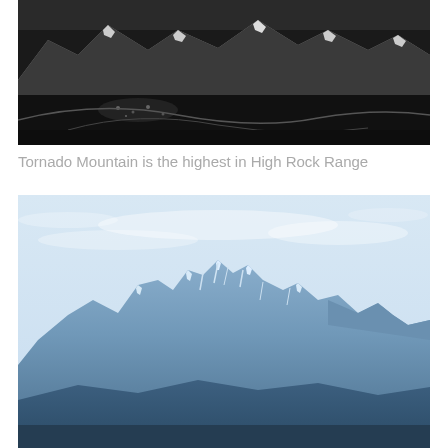[Figure (photo): Black and white aerial photograph of a mountain range with snow-capped peaks and a valley with a town visible below]
Tornado Mountain is the highest in High Rock Range
[Figure (photo): Color photograph of a mountain range with snow-covered peaks against a pale blue sky, taken from a distance showing the full ridge line]